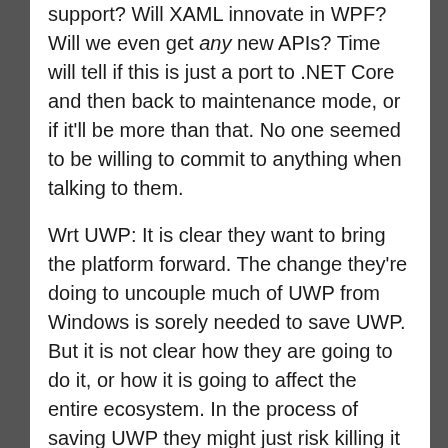support? Will XAML innovate in WPF? Will we even get any new APIs? Time will tell if this is just a port to .NET Core and then back to maintenance mode, or if it'll be more than that. No one seemed to be willing to commit to anything when talking to them.
Wrt UWP: It is clear they want to bring the platform forward. The change they're doing to uncouple much of UWP from Windows is sorely needed to save UWP. But it is not clear how they are going to do it, or how it is going to affect the entire ecosystem. In the process of saving UWP they might just risk killing it off, unless they get a really good migration story and the entire component ecosystem on board quick.
So what should you do with all this stuff going on? Well here's my recommendation: Whether